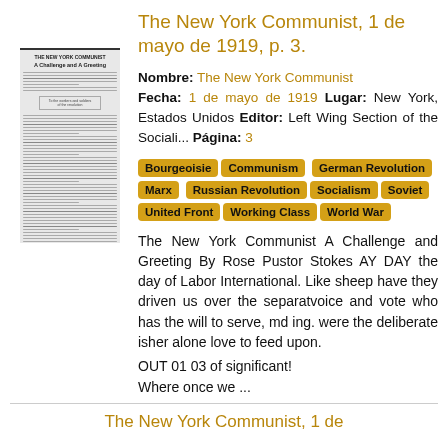[Figure (photo): A scanned newspaper page thumbnail showing 'A Challenge and A Greeting' article from The New York Communist]
The New York Communist, 1 de mayo de 1919, p. 3.
Nombre: The New York Communist Fecha: 1 de mayo de 1919 Lugar: New York, Estados Unidos Editor: Left Wing Section of the Sociali... Página: 3
Bourgeoisie
Communism
German Revolution
Marx
Russian Revolution
Socialism
Soviet
United Front
Working Class
World War
The New York Communist A Challenge and Greeting By Rose Pustor Stokes AY DAY the day of Labor International. Like sheep have they driven us over the separatvoice and vote who has the will to serve, md ing. were the deliberate isher alone love to feed upon.
OUT 01 03 of significant!
Where once we ...
The New York Communist, 1 de